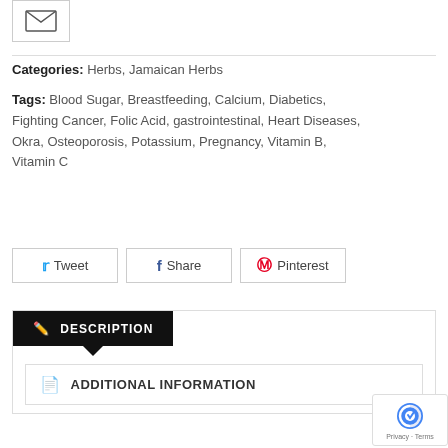[Figure (illustration): Envelope/mail icon in a bordered box]
Categories: Herbs, Jamaican Herbs
Tags: Blood Sugar, Breastfeeding, Calcium, Diabetics, Fighting Cancer, Folic Acid, gastrointestinal, Heart Diseases, Okra, Osteoporosis, Potassium, Pregnancy, Vitamin B, Vitamin C
Tweet
Share
Pinterest
DESCRIPTION
ADDITIONAL INFORMATION